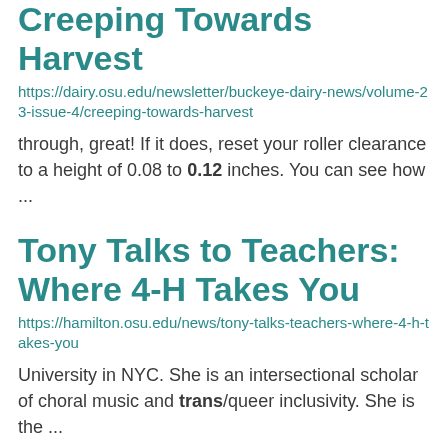Creeping Towards Harvest
https://dairy.osu.edu/newsletter/buckeye-dairy-news/volume-23-issue-4/creeping-towards-harvest
through, great! If it does, reset your roller clearance to a height of 0.08 to 0.12 inches. You can see how ...
Tony Talks to Teachers: Where 4-H Takes You
https://hamilton.osu.edu/news/tony-talks-teachers-where-4-h-takes-you
University in NYC. She is an intersectional scholar of choral music and trans/queer inclusivity. She is the ...